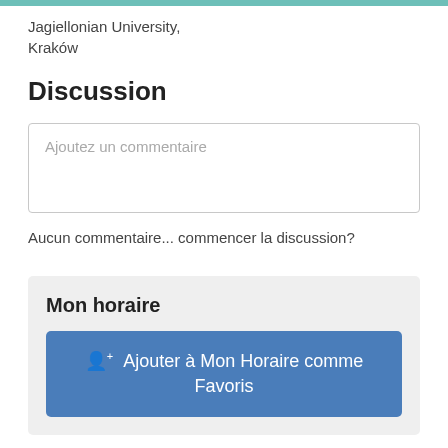Jagiellonian University, Kraków
Discussion
Ajoutez un commentaire
Aucun commentaire... commencer la discussion?
Mon horaire
Ajouter à Mon Horaire comme Favoris
É